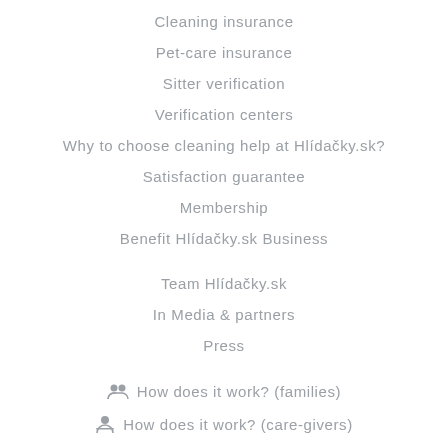Cleaning insurance
Pet-care insurance
Sitter verification
Verification centers
Why to choose cleaning help at Hlídačky.sk?
Satisfaction guarantee
Membership
Benefit Hlídačky.sk Business
Team Hlídačky.sk
In Media & partners
Press
How does it work? (families)
How does it work? (care-givers)